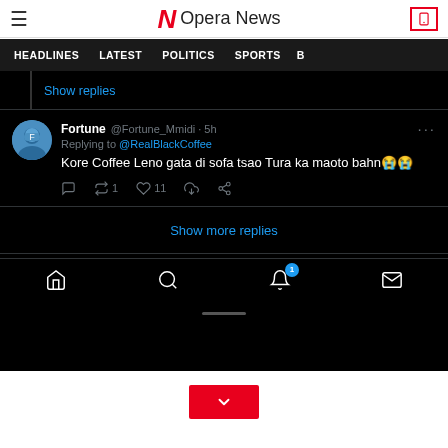Opera News — HEADLINES | LATEST | POLITICS | SPORTS
[Figure (screenshot): Twitter/X thread screenshot on dark background. Shows 'Show replies' link, a tweet from Fortune @Fortune_Mmidi 5h replying to @RealBlackCoffee: 'Kore Coffee Leno gata di sofa tsao Tura ka maoto bahn😭😭' with 1 retweet and 11 likes, followed by 'Show more replies' link and mobile bottom navigation bar.]
[Figure (other): Red button with white chevron/down arrow icon]